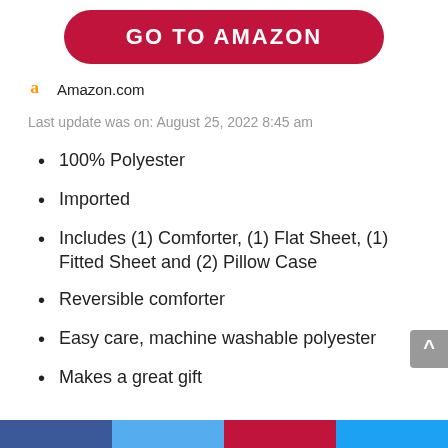[Figure (other): Red rounded rectangle button with white bold text 'GO TO AMAZON']
Amazon.com
Last update was on: August 25, 2022 8:45 am
100% Polyester
Imported
Includes (1) Comforter, (1) Flat Sheet, (1) Fitted Sheet and (2) Pillow Case
Reversible comforter
Easy care, machine washable polyester
Makes a great gift